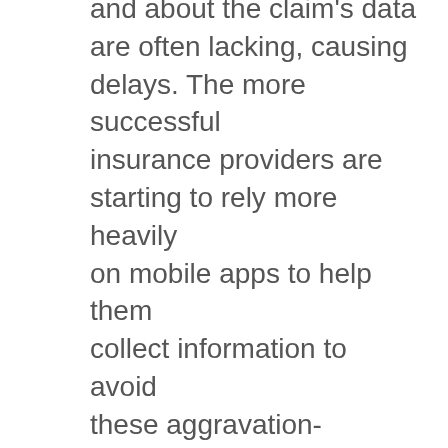and about the claim's data are often lacking, causing delays. The more successful insurance providers are starting to rely more heavily on mobile apps to help them collect information to avoid these aggravation-inducing delays.
3. Update often. Even if there is no change in a customer's claim status, he or she wants to know about it. Leaving customers wondering where they are in the claims process is frustrating. This can be as simple as an automated email or as personal as a phone